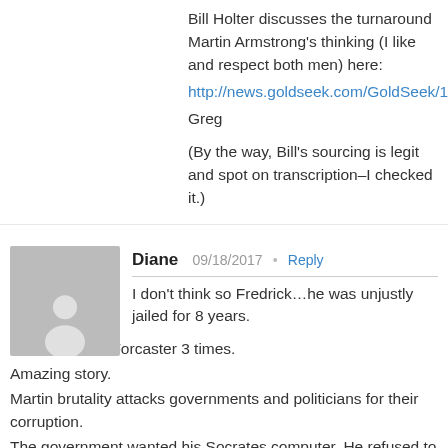Bill Holter discusses the turnaround Martin Armstrong's thinking (I like and respect both men) here: http://news.goldseek.com/GoldSeek/1481904
Greg

(By the way, Bill's sourcing is legit and spot on transcription–I checked it.)
Diane  09/18/2017  •  Reply
I don't think so Fredrick…he was unjustly jailed for 8 years.
I watched The Forcaster 3 times.
Amazing story.
Martin brutality attacks governments and politicians for their corruption.
The government wanted his Socrates computer. He refused to give it to them
Socrates is on target more often than not.